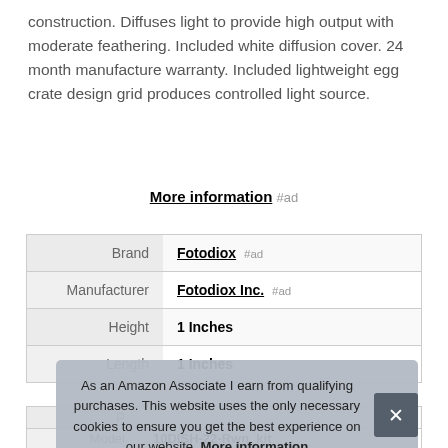construction. Diffuses light to provide high output with moderate feathering. Included white diffusion cover. 24 month manufacture warranty. Included lightweight egg crate design grid produces controlled light source.
More information #ad
|  |  |
| --- | --- |
| Brand | Fotodiox #ad |
| Manufacturer | Fotodiox Inc. #ad |
| Height | 1 Inches |
| Length | 1 Inches |
| P |  |
| Model | 10DISH-22-Rwn_kit |
As an Amazon Associate I earn from qualifying purchases. This website uses the only necessary cookies to ensure you get the best experience on our website. More information